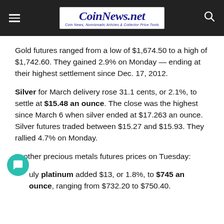CoinNews.net — Coin News, Numismatic Articles & Collector Price Tools
Gold futures ranged from a low of $1,674.50 to a high of $1,742.60. They gained 2.9% on Monday — ending at their highest settlement since Dec. 17, 2012.
Silver for March delivery rose 31.1 cents, or 2.1%, to settle at $15.48 an ounce. The close was the highest since March 6 when silver ended at $17.263 an ounce. Silver futures traded between $15.27 and $15.93. They rallied 4.7% on Monday.
In other precious metals futures prices on Tuesday:
July platinum added $13, or 1.8%, to $745 an ounce, ranging from $732.20 to $750.40.